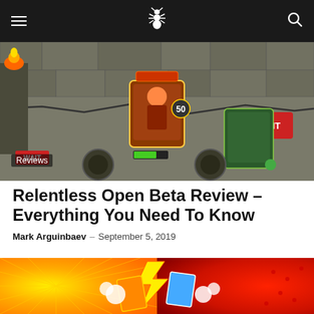Navigation bar with hamburger menu, site logo (bug icon), and search icon
[Figure (screenshot): Screenshot of a mobile strategy/card game showing a dungeon/underground battlefield scene with cards, characters, and a 'WAIT' button]
Reviews
Relentless Open Beta Review – Everything You Need To Know
Mark Arguinbaev – September 5, 2019
[Figure (screenshot): Colorful comic-style promotional artwork for Relentless card game with lightning bolt, cards clashing, orange and red radial burst background]